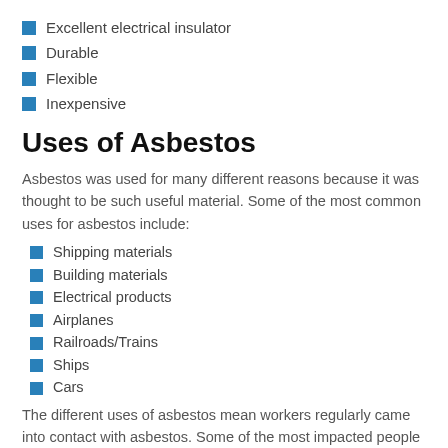Excellent electrical insulator
Durable
Flexible
Inexpensive
Uses of Asbestos
Asbestos was used for many different reasons because it was thought to be such useful material. Some of the most common uses for asbestos include:
Shipping materials
Building materials
Electrical products
Airplanes
Railroads/Trains
Ships
Cars
The different uses of asbestos mean workers regularly came into contact with asbestos. Some of the most impacted people include asbestos miners